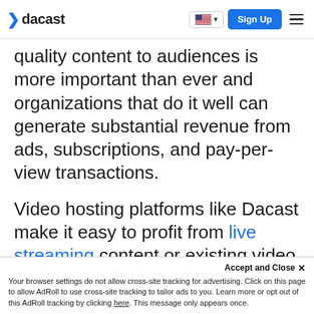dacast | Sign Up
quality content to audiences is more important than ever and organizations that do it well can generate substantial revenue from ads, subscriptions, and pay-per-view transactions.
Video hosting platforms like Dacast make it easy to profit from live streaming content or existing video on-demand libraries. Our powerful online video solution offers enterprise-grade
Accept and Close ×
Your browser settings do not allow cross-site tracking for advertising. Click on this page to allow AdRoll to use cross-site tracking to tailor ads to you. Learn more or opt out of this AdRoll tracking by clicking here. This message only appears once.